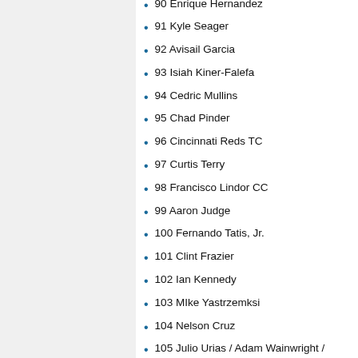90 Enrique Hernandez
91 Kyle Seager
92 Avisail Garcia
93 Isiah Kiner-Falefa
94 Cedric Mullins
95 Chad Pinder
96 Cincinnati Reds TC
97 Curtis Terry
98 Francisco Lindor CC
99 Aaron Judge
100 Fernando Tatis, Jr.
101 Clint Frazier
102 Ian Kennedy
103 MIke Yastrzemksi
104 Nelson Cruz
105 Julio Urias / Adam Wainwright / Walker Buehler LL NL W
106 Pavin Smith